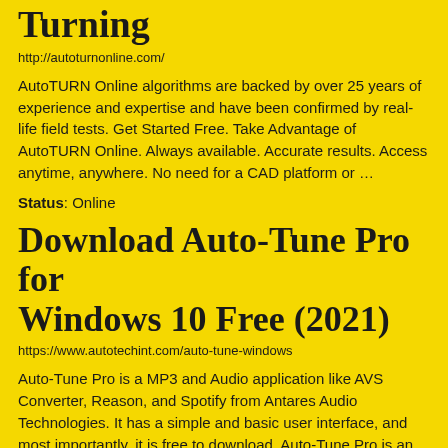Turning
http://autoturnonline.com/
AutoTURN Online algorithms are backed by over 25 years of experience and expertise and have been confirmed by real-life field tests. Get Started Free. Take Advantage of AutoTURN Online. Always available. Accurate results. Access anytime, anywhere. No need for a CAD platform or …
Status: Online
Download Auto-Tune Pro for Windows 10 Free (2021)
https://www.autotechint.com/auto-tune-windows
Auto-Tune Pro is a MP3 and Audio application like AVS Converter, Reason, and Spotify from Antares Audio Technologies. It has a simple and basic user interface, and most importantly, it is free to download. Auto-Tune Pro is an efficient software that is recommended by many Windows PC users. Auto-Tune Pro is a very fast, small, compact and innovative Trial MP3 and Audio for Windows PC.
Status: Online
Download Tune Software according to it...